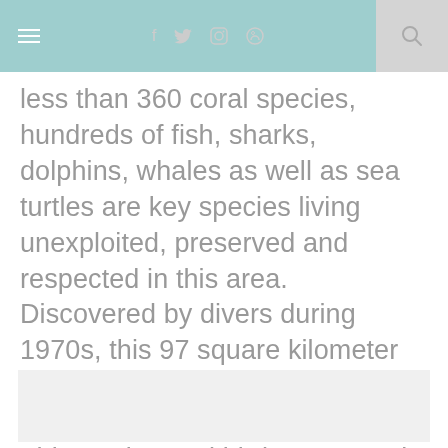≡  f  𝕏  📷  𝗽  🔍
less than 360 coral species, hundreds of fish, sharks, dolphins, whales as well as sea turtles are key species living unexploited, preserved and respected in this area. Discovered by divers during 1970s, this 97 square kilometer site comprises two large atolls and the Jessie Beazley Reef. This marine and bird sanctuary is ideal for scuba diving.
[Figure (photo): Image placeholder area below the text content]